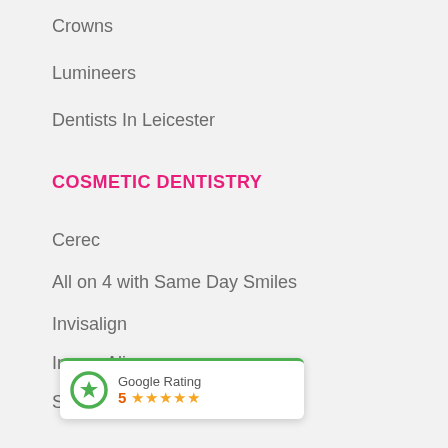Crowns
Lumineers
Dentists In Leicester
COSMETIC DENTISTRY
Cerec
All on 4 with Same Day Smiles
Invisalign
Inman Aligner
Six Month Smiles
IMPLANT DENTISTRY
Dental Implants
All on 4 with Same Day Smiles
FACIAL AESTHETICS
[Figure (other): Google Rating widget showing 5 stars rating]